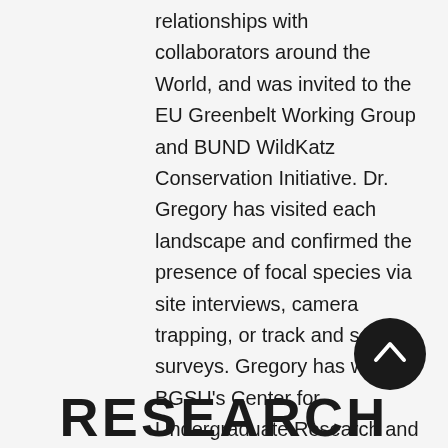relationships with collaborators around the World, and was invited to the EU Greenbelt Working Group and BUND WildKatz Conservation Initiative. Dr. Gregory has visited each landscape and confirmed the presence of focal species via site interviews, camera trapping, or track and scat surveys. Gregory has won BGSU's Center for Undergraduate Research and Scholarship undergraduate research mentor of the year award. In 2017, he won the BGSU Master Teacher Award, and was named to the College of Arts and Sciences List of outstanding graduate faculty. Google Scholar HERE.
RESEARCH